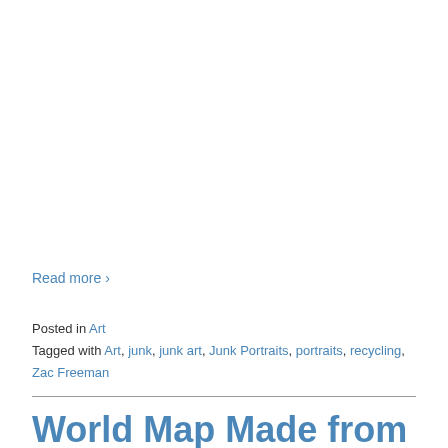Read more ›
Posted in Art
Tagged with Art, junk, junk art, Junk Portraits, portraits, recycling, Zac Freeman
World Map Made from